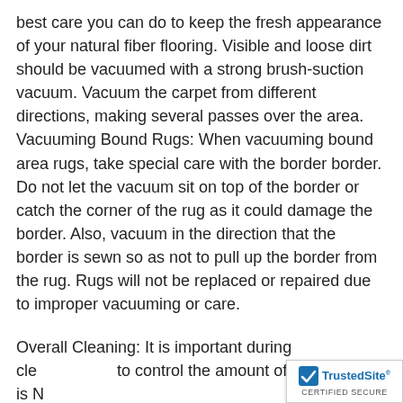best care you can do to keep the fresh appearance of your natural fiber flooring. Visible and loose dirt should be vacuumed with a strong brush-suction vacuum. Vacuum the carpet from different directions, making several passes over the area.
Vacuuming Bound Rugs: When vacuuming bound area rugs, take special care with the border border. Do not let the vacuum sit on top of the border or catch the corner of the rug as it could damage the border. Also, vacuum in the direction that the border is sewn so as not to pull up the border from the rug. Rugs will not be replaced or repaired due to improper vacuuming or care.
Overall Cleaning: It is important during cleaning to control the amount of moisture. It is NO...